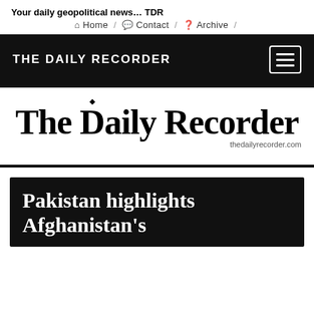Your daily geopolitical news... TDR
Home / Contact / Archive /
THE DAILY RECORDER
[Figure (logo): The Daily Recorder masthead logo with thedailyrecorder.com URL]
Pakistan highlights Afghanistan's